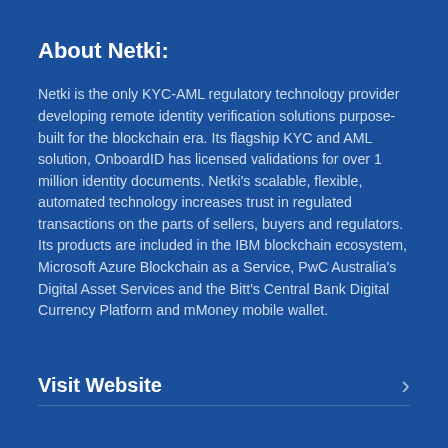About Netki:
Netki is the only KYC-AML regulatory technology provider developing remote identity verification solutions purpose-built for the blockchain era. Its flagship KYC and AML solution, OnboardID has licensed validations for over 1 million identity documents. Netki's scalable, flexible, automated technology increases trust in regulated transactions on the parts of sellers, buyers and regulators. Its products are included in the IBM blockchain ecosystem, Microsoft Azure Blockchain as a Service, PwC Australia's Digital Asset Services and the Bitt's Central Bank Digital Currency Platform and mMoney mobile wallet.
Visit Website